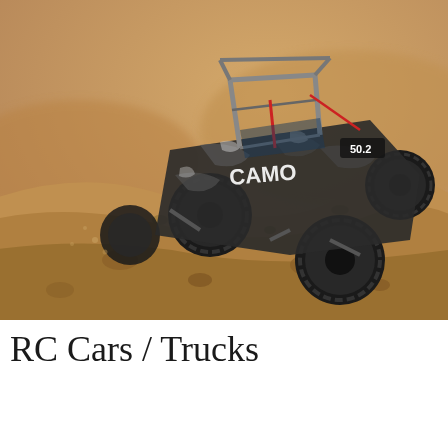[Figure (photo): An RC rock crawler truck (CAMO branded, black with camouflage pattern) climbing over a sandy, rocky dirt hill. The vehicle has large knobby tires and an exposed roll cage frame. Outdoor desert/arid terrain setting with blurred background.]
RC Cars / Trucks